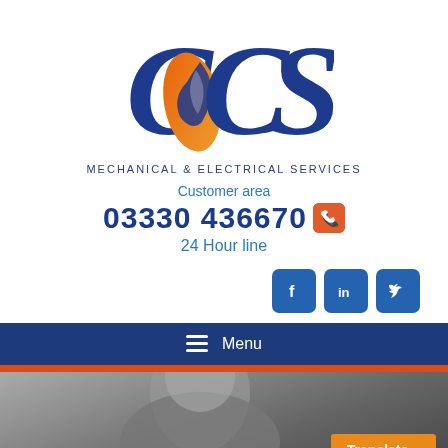[Figure (logo): CCS Mechanical & Electrical Services logo with stylized flame icon inside the letter C, blue and orange gradient colors]
Mechanical & Electrical Services
Customer area
03330 436670
24 Hour line
[Figure (infographic): Social media icons: Facebook, LinkedIn, Twitter — blue rounded square buttons]
≡ Menu
[Figure (photo): Grayscale photo of a person, partially visible at bottom of page]
Translate »